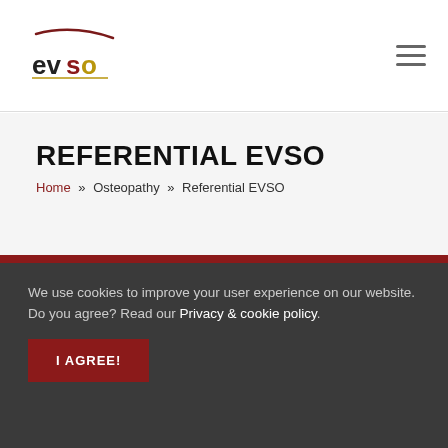EVSO logo and navigation menu
REFERENTIAL EVSO
Home » Osteopathy » Referential EVSO
EVSO Veterinarians
EVSO® Required standards of knowledge and competence
We use cookies to improve your user experience on our website. Do you agree? Read our Privacy & cookie policy.
I AGREE!